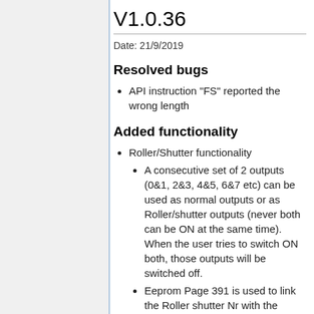V1.0.36
Date: 21/9/2019
Resolved bugs
API instruction "FS" reported the wrong length
Added functionality
Roller/Shutter functionality
A consecutive set of 2 outputs (0&1, 2&3, 4&5, 6&7 etc) can be used as normal outputs or as Roller/shutter outputs (never both can be ON at the same time). When the user tries to switch ON both, those outputs will be switched off.
Eeprom Page 391 is used to link the Roller shutter Nr with the